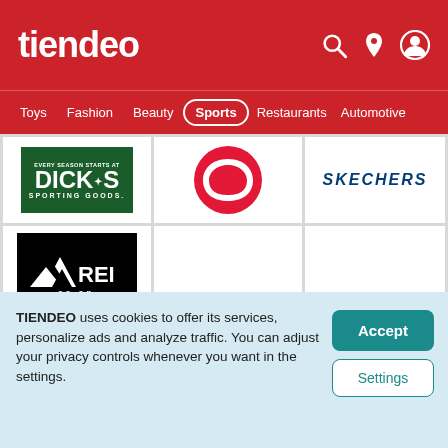tiendeo
Toys
Fashion
Beauty
Sports
Restaurants
Automotive
[Figure (logo): Dick's Sporting Goods logo - green background with white text]
[Figure (logo): Lululemon logo - red circular omega/horseshoe symbol]
[Figure (logo): Skechers logo - dark blue italic bold text]
[Figure (logo): REI Co-op logo - white mountain/tree graphic on black background]
TIENDEO uses cookies to offer its services, personalize ads and analyze traffic. You can adjust your privacy controls whenever you want in the settings.
Accept
Settings